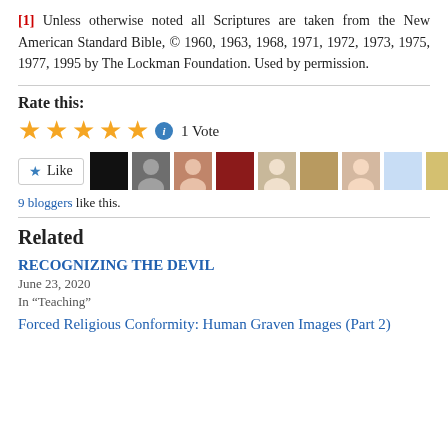[1] Unless otherwise noted all Scriptures are taken from the New American Standard Bible, © 1960, 1963, 1968, 1971, 1972, 1973, 1975, 1977, 1995 by The Lockman Foundation. Used by permission.
Rate this:
[Figure (other): Five gold stars rating widget with info icon, showing 1 Vote]
[Figure (other): Like button followed by 9 blogger avatar thumbnails]
9 bloggers like this.
Related
RECOGNIZING THE DEVIL
June 23, 2020
In "Teaching"
Forced Religious Conformity: Human Graven Images (Part 2)